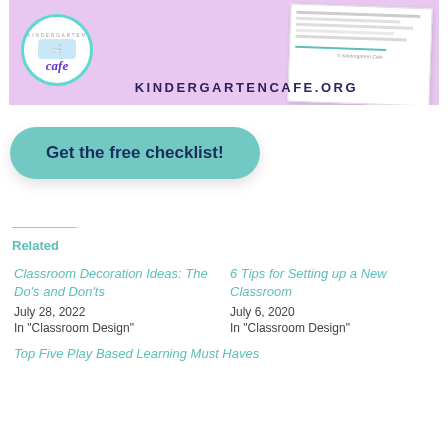[Figure (illustration): Kindergarten Cafe banner with circular logo showing 'cafe' text, a document/checklist graphic, and the website URL KINDERGARTENCAFE.ORG on a lavender background]
Get the free checklist!
Related
Classroom Decoration Ideas: The Do's and Don'ts
July 28, 2022
In "Classroom Design"
6 Tips for Setting up a New Classroom
July 6, 2020
In "Classroom Design"
Top Five Play Based Learning Must Haves